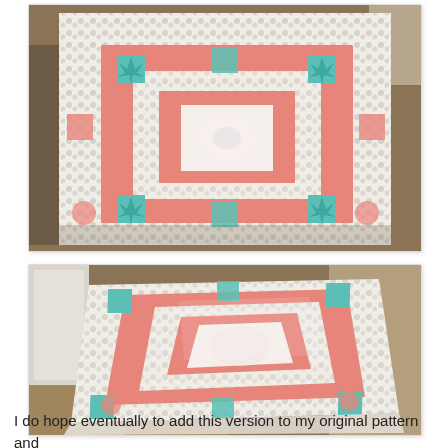[Figure (photo): Quilt laid flat on the floor viewed from above, showing a medallion-style quilt top with white patterned border fabric, coral/salmon wide borders, teal star blocks at corners and midpoints, and a central white and coral patterned medallion.]
[Figure (photo): Same quilt viewed from an angle/perspective view on a table or surface, showing the same medallion quilt pattern with coral, teal, and white patterned fabrics, with the quilt draped or folded slightly at the bottom.]
I do hope eventually to add this version to my original pattern and